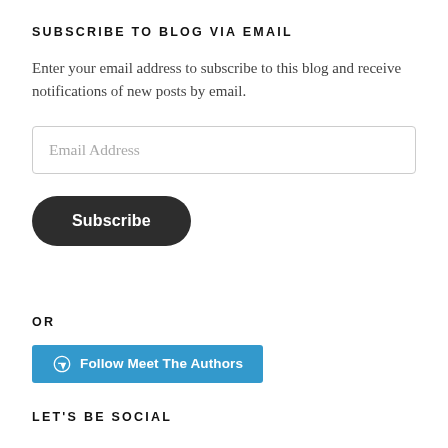SUBSCRIBE TO BLOG VIA EMAIL
Enter your email address to subscribe to this blog and receive notifications of new posts by email.
Email Address
Subscribe
OR
Follow Meet The Authors
LET'S BE SOCIAL